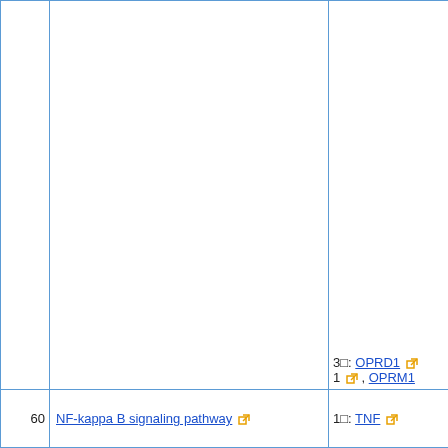|  | Pathway | Genes |
| --- | --- | --- |
|  |  | 3□: OPRD1 □ 1 □, OPRM1 |
| 60 | NF-kappa B signaling pathway □ | 1□: TNF □ |